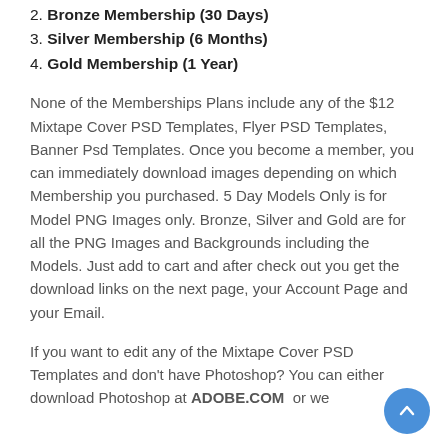2. Bronze Membership (30 Days)
3. Silver Membership (6 Months)
4. Gold Membership (1 Year)
None of the Memberships Plans include any of the $12 Mixtape Cover PSD Templates, Flyer PSD Templates, Banner Psd Templates. Once you become a member, you can immediately download images depending on which Membership you purchased. 5 Day Models Only is for Model PNG Images only. Bronze, Silver and Gold are for all the PNG Images and Backgrounds including the Models. Just add to cart and after check out you get the download links on the next page, your Account Page and your Email.
If you want to edit any of the Mixtape Cover PSD Templates and don't have Photoshop? You can either download Photoshop at ADOBE.COM or we